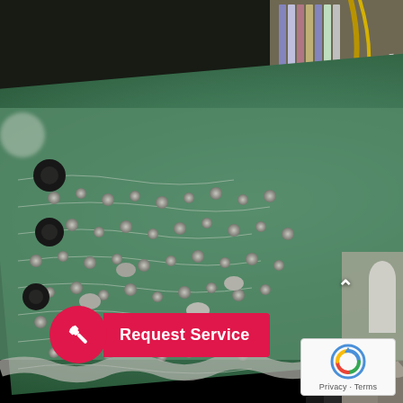[Figure (photo): Close-up photograph of a green circuit board (PCB) showing solder joints, traces, and accumulated dust/debris on the bottom side. Multiple wires visible in the background including colored ribbon cables and yellow/white wires. Black cylindrical components and white plastic connectors visible on the right side.]
Request Service
Privacy · Terms